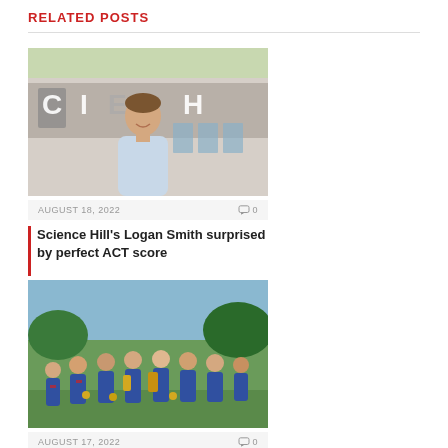RELATED POSTS
[Figure (photo): Young male student smiling in front of a school building with letter signs on the facade]
AUGUST 18, 2022   0
Science Hill's Logan Smith surprised by perfect ACT score
[Figure (photo): Group of youth shotgun team members in blue uniforms holding trophies and medals outdoors]
AUGUST 17, 2022   0
Local youth shotgun team